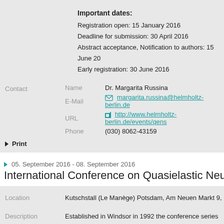Important dates:
Registration open: 15 January 2016
Deadline for submission: 30 April 2016
Abstract acceptance, Notification to authors: 15 June 20...
Early registration: 30 June 2016
Contact   Name   Dr. Margarita Russina   E-Mail   margarita.russina@helmholtz-berlin.de   URL   http://www.helmholtz-berlin.de/events/qens   Phone   (030) 8062-43159
Print
05. September 2016 - 08. September 2016
International Conference on Quasielastic Neutron Sc...
Location   Kutschstall (Le Manège) Potsdam, Am Neuen Markt 9, 1...
Description   Established in Windsor in 1992 the conference series aims to bring together newcomers and experienced scientists to share the latest developments in the investigation of the dynamics phenomena in materials using quasi-elastic neutron scattering. Distinct streng...